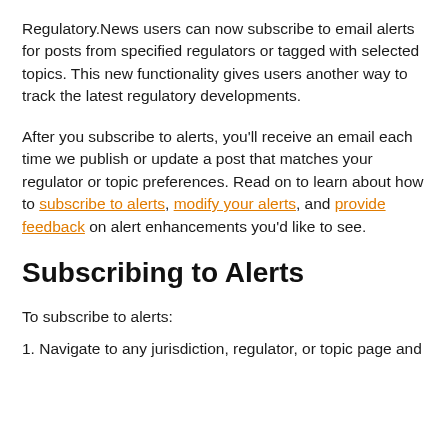Regulatory.News users can now subscribe to email alerts for posts from specified regulators or tagged with selected topics. This new functionality gives users another way to track the latest regulatory developments.
After you subscribe to alerts, you'll receive an email each time we publish or update a post that matches your regulator or topic preferences. Read on to learn about how to subscribe to alerts, modify your alerts, and provide feedback on alert enhancements you'd like to see.
Subscribing to Alerts
To subscribe to alerts:
1. Navigate to any jurisdiction, regulator, or topic page and